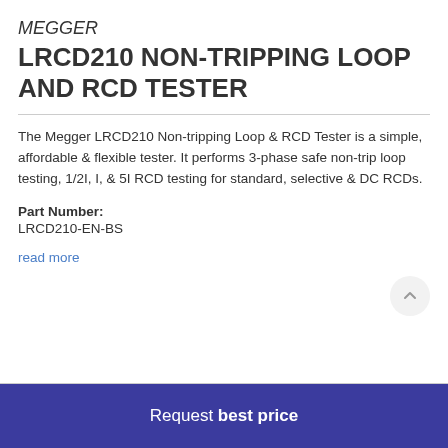MEGGER LRCD210 NON-TRIPPING LOOP AND RCD TESTER
The Megger LRCD210 Non-tripping Loop & RCD Tester is a simple, affordable & flexible tester. It performs 3-phase safe non-trip loop testing, 1/2I, I, & 5I RCD testing for standard, selective & DC RCDs.
Part Number: LRCD210-EN-BS
read more
Request best price